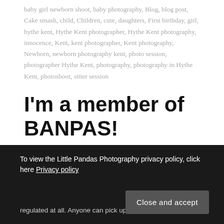baby girl newborn shoot, baby photography, Blog, blog post, Cake smash, child, Children, cute, daughters, First birthday, girl, hythe kent, Hythe Kent photographer, Hythe Kent photography, innocence, Kent, kent photographer, Kent photography, Newborn, newborn photography kent, photo session, photographer Hythe Kent, photography, photography in Hythe Kent, photoshoot, sitter session
I'm a member of BANPAS!
03/05/2018 by littlepandasphotography — Leave a Comment
As a newborn and baby photographer, I'm always aware of
To view the Little Pandas Photography privacy policy, click here Privacy policy
regulated at all. Anyone can pick up a camera and set up in